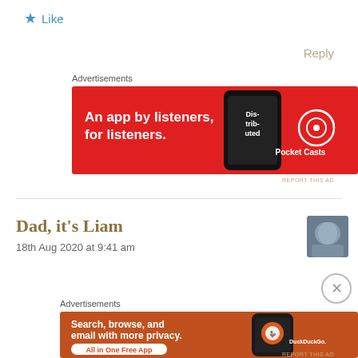★ Like
Reply
Advertisements
[Figure (screenshot): Pocket Casts advertisement banner: red background with white text 'An app by listeners, for listeners.' with phone image and Pocket Casts logo]
REPORT THIS AD
Dad, it's Liam
18th Aug 2020 at 9:41 am
Advertisements
[Figure (screenshot): DuckDuckGo advertisement banner: orange-red background with white text 'Search, browse, and email with more privacy. All in One Free App' with phone image and DuckDuckGo logo]
REPORT THIS AD